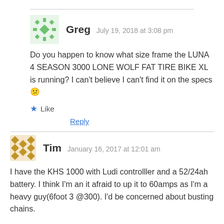Greg  July 19, 2018 at 3:08 pm
Do you happen to know what size frame the LUNA 4 SEASON 3000 LONE WOLF FAT TIRE BIKE XL is running? I can't believe I can't find it on the specs 😕
★ Like
Reply
Tim  January 16, 2017 at 12:01 am
I have the KHS 1000 with Ludi controlller and a 52/24ah battery. I think I'm an it afraid to up it to 60amps as I'm a heavy guy(6foot 3 @300). I'd be concerned about busting chains.